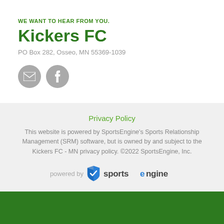WE WANT TO HEAR FROM YOU.
Kickers FC
PO Box 282, Osseo, MN 55369-1039
[Figure (illustration): Two circular social media icon buttons: email envelope icon and Facebook icon, both gray]
Privacy Policy
This website is powered by SportsEngine's Sports Relationship Management (SRM) software, but is owned by and subject to the Kickers FC - MN privacy policy. ©2022 SportsEngine, Inc.
[Figure (logo): Powered by SportsEngine logo with shield emblem]